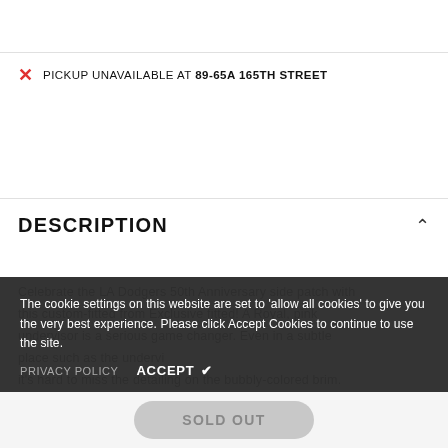PICKUP UNAVAILABLE AT 89-65A 165TH STREET
DESCRIPTION
Celebrate the LA Dodgers 50th Anniversary side patch with this custom-fitted from Exclusive fitted! A Royal, pink undervisor is a serious game changer. Even in a subtle place such as the undervisor, it's hard to miss the detailing on the bubbly-colored brim. Paired with the interlocking LA Dodgers 50th Anniversary treatment with this clean entry from Exclusive Fitted.
The cookie settings on this website are set to 'allow all cookies' to give you the very best experience. Please click Accept Cookies to continue to use the site.
PRIVACY POLICY   ACCEPT ✔
SOLD OUT